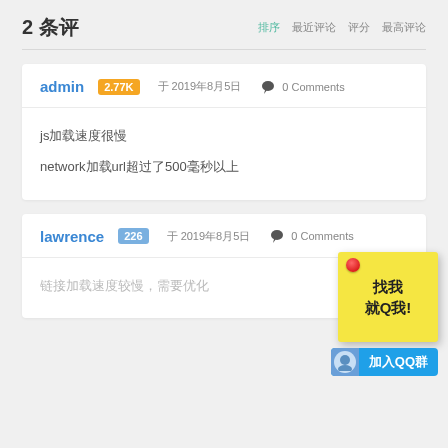2 条评
排序 最近评论 评分 最高评论
admin 2.77K 于 2019年8月5日 0 Comments
js加载速度很慢
network加载url超过了500毫秒以上
lawrence 226 于 2019年8月5日 0 Comments
链接加载速度较慢，需要优化